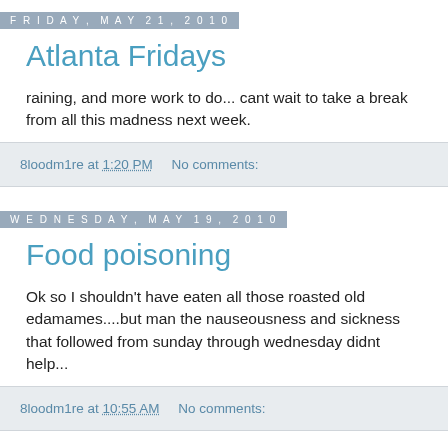Friday, May 21, 2010
Atlanta Fridays
raining, and more work to do... cant wait to take a break from all this madness next week.
8loodm1re at 1:20 PM   No comments:
Wednesday, May 19, 2010
Food poisoning
Ok so I shouldn't have eaten all those roasted old edamames....but man the nauseousness and sickness that followed from sunday through wednesday didnt help...
8loodm1re at 10:55 AM   No comments:
Sunday, May 16, 2010